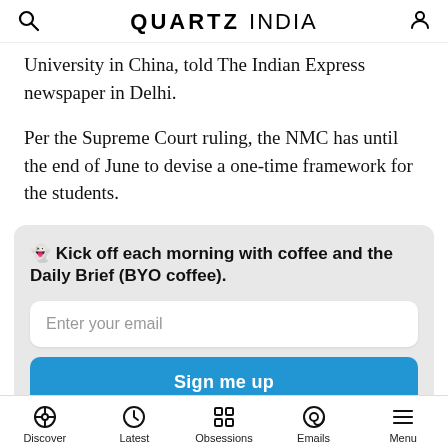QUARTZ INDIA
University in China, told The Indian Express newspaper in Delhi.
Per the Supreme Court ruling, the NMC has until the end of June to devise a one-time framework for the students.
👻 Kick off each morning with coffee and the Daily Brief (BYO coffee). [Email signup box] Enter your email / Sign me up / By providing your email, you agree to the Quartz Privacy Policy.
Discover | Latest | Obsessions | Emails | Menu